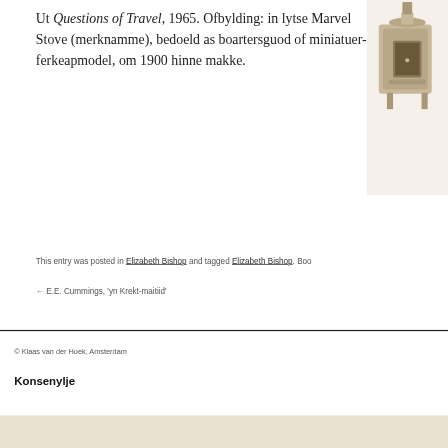Ut Questions of Travel, 1965. Ofbylding: in lytse Marvel Stove (merknamme), bedoeld as boartersguod of miniatuer-ferkeapmodel, om 1900 hinne makke.
[Figure (photo): Partial view of a small decorative metal stove object, beige/tan colored, appears to be a miniature Marvel Stove toy or trade model, circa 1900.]
This entry was posted in Elizabeth Bishop and tagged Elizabeth Bishop. Boo…
← E.E. Cummings, 'yn Krekt-maitiid'
© Klaas van der Hoek, Amsterdam
Konsenylje